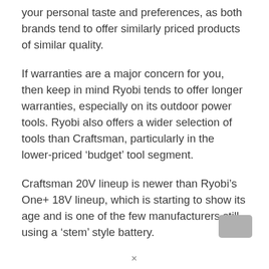your personal taste and preferences, as both brands tend to offer similarly priced products of similar quality.
If warranties are a major concern for you, then keep in mind Ryobi tends to offer longer warranties, especially on its outdoor power tools. Ryobi also offers a wider selection of tools than Craftsman, particularly in the lower-priced ‘budget’ tool segment.
Craftsman 20V lineup is newer than Ryobi’s One+ 18V lineup, which is starting to show its age and is one of the few manufacturers still using a ‘stem’ style battery.